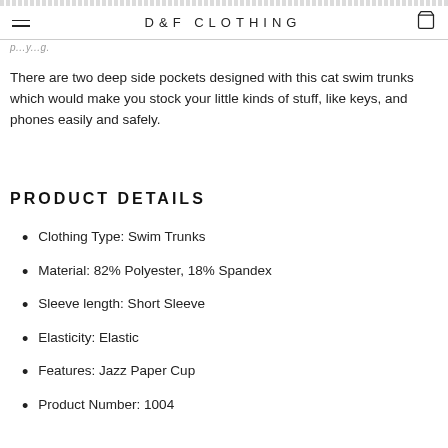D&F CLOTHING
p...y...g.
There are two deep side pockets designed with this cat swim trunks which would make you stock your little kinds of stuff, like keys, and phones easily and safely.
PRODUCT DETAILS
Clothing Type: Swim Trunks
Material: 82% Polyester, 18% Spandex
Sleeve length: Short Sleeve
Elasticity: Elastic
Features: Jazz Paper Cup
Product Number: 1004